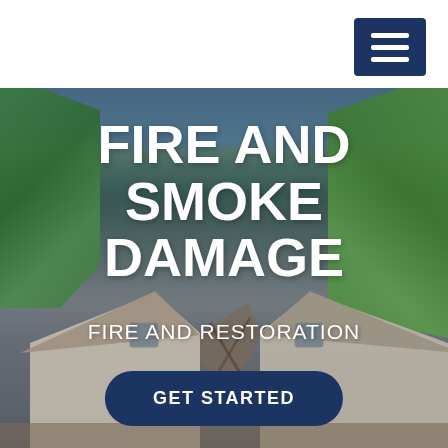[Figure (screenshot): Mobile website screenshot showing a fire and smoke damage restoration service page. White header bar with dark navy hamburger menu icon in top right. Hero section with a darkened photograph of a house with damaged roof surrounded by trees. Large bold white text 'FIRE AND SMOKE DAMAGE' as main heading, subtitle 'FIRE AND RESTORATION', and a navy blue rounded 'GET STARTED' call-to-action button.]
FIRE AND SMOKE DAMAGE
FIRE AND RESTORATION
GET STARTED